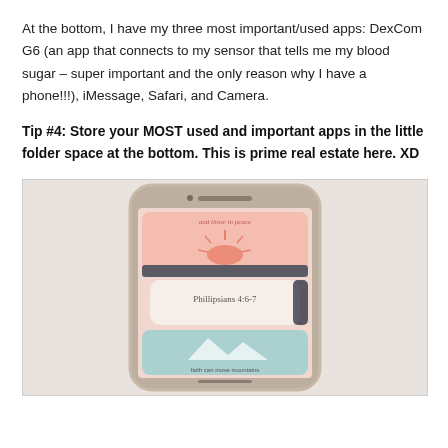At the bottom, I have my three most important/used apps: DexCom G6 (an app that connects to my sensor that tells me my blood sugar – super important and the only reason why I have a phone!!!), iMessage, Safari, and Camera.
Tip #4: Store your MOST used and important apps in the little folder space at the bottom. This is prime real estate here. XD
[Figure (photo): A photo of an iPhone with a clear/gold case displaying a wallpaper with colorful cards including one that reads 'Phillipsians 4:6-7', placed on a white fabric background.]